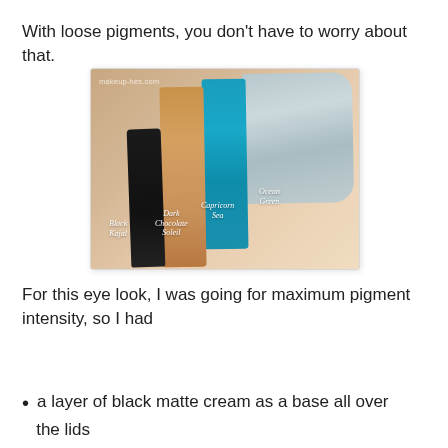With loose pigments, you don't have to worry about that.
[Figure (photo): Makeup swatches on a wrist showing four pigment colors labeled Black Kajal, Dark Chocolate Soleil, Capricorn Sea, and Ocean Green. Watermark reads makeup-hes.com.]
For this eye look, I was going for maximum pigment intensity, so I had
a layer of black matte cream as a base all over the lids